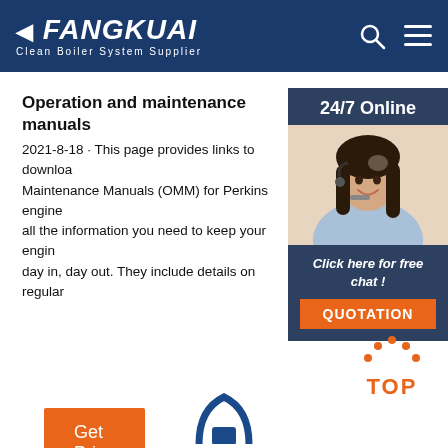FANGKUAI Clean Boiler System Supplier
Operation and maintenance manuals
2021-8-18 · This page provides links to download Operation and Maintenance Manuals (OMM) for Perkins engines, all the information you need to keep your engine running day in, day out. They include details on regular
[Figure (photo): Customer service representative (woman with headset) in sidebar with 24/7 Online label and Click here for free chat text and QUOTATION button]
[Figure (illustration): TOP scroll-to-top icon with orange dots above orange TOP text]
[Figure (illustration): Partial blue boiler/equipment icon at bottom center]